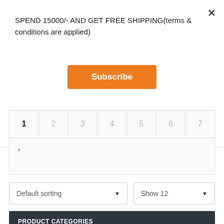SPEND 15000/- AND GET FREE SHIPPING(terms & conditions are applied)
Subscribe
1  2  3  4  5  6  7
Default sorting ▼
Show 12 ▼
PRODUCT CATEGORIES
ARDUINO & COMPONENTS